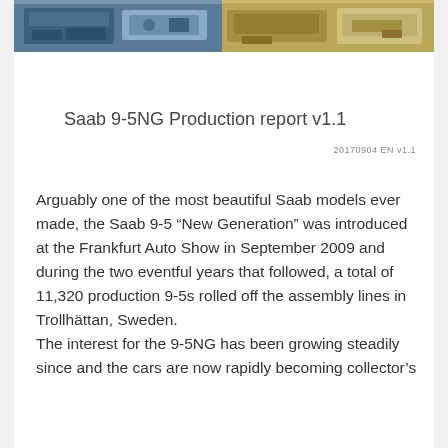[Figure (photo): Two photos side by side at the top of the page showing Saab manufacturing/assembly line scenes]
Saab 9-5NG Production report v1.1
20170904 EN v1.1
Arguably one of the most beautiful Saab models ever made, the Saab 9-5 “New Generation” was introduced at the Frankfurt Auto Show in September 2009 and during the two eventful years that followed, a total of 11,320 production 9-5s rolled off the assembly lines in Trollhättan, Sweden.
The interest for the 9-5NG has been growing steadily since and the cars are now rapidly becoming collector’s